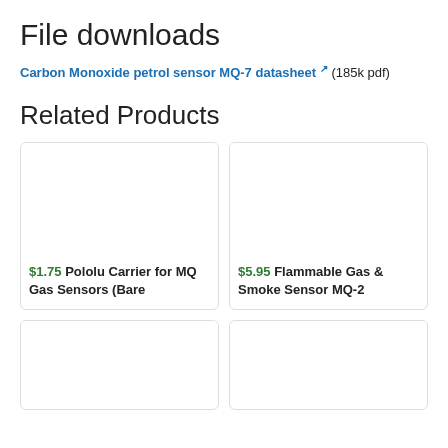File downloads
Carbon Monoxide petrol sensor MQ-7 datasheet (185k pdf)
Related Products
[Figure (other): Product card: $1.75 Pololu Carrier for MQ Gas Sensors (Bare]
[Figure (other): Product card: $5.95 Flammable Gas & Smoke Sensor MQ-2]
[Figure (other): Product card (bottom left, partially visible)]
[Figure (other): Product card (bottom right, partially visible)]